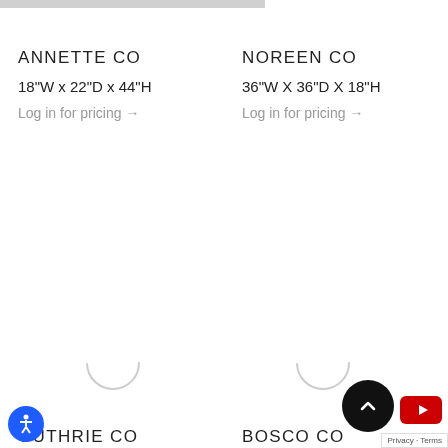ANNETTE CO
18"W x 22"D x 44"H
Log in for pricing →
NOREEN CO
36"W X 36"D X 18"H
Log in for pricing →
[Figure (other): Loading spinner animation]
[Figure (other): Loading spinner animation]
GUTHRIE CO
84"W X 20"D X 64"H
BOSCO CO
14"W x 14"D x 2__"H